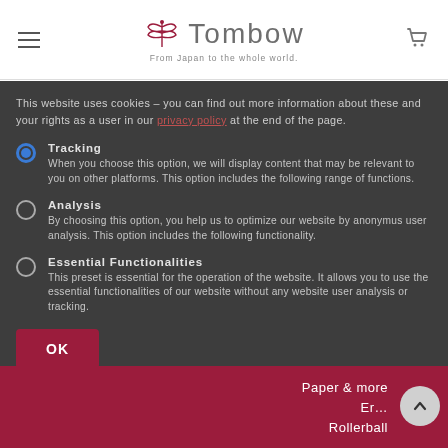Tombow – From Japan to the whole world.
This website uses cookies – you can find out more information about these and your rights as a user in our [privacy policy] at the end of the page.
Tracking – When you choose this option, we will display content that may be relevant to you on other platforms. This option includes the following range of functions.
Analysis – By choosing this option, you help us to optimize our website by anonymus user analysis. This option includes the following functionality.
Essential Functionalities – This preset is essential for the operation of the website. It allows you to use the essential functionalities of our website without any website user analysis or tracking.
OK
Paper & more
Er…
Rollerball